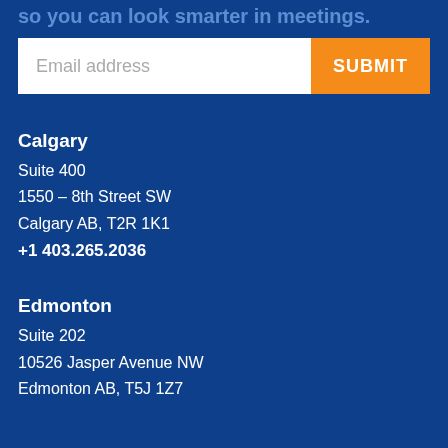so you can look smarter in meetings.
Email address
SUBMIT
Calgary
Suite 400
1550 – 8th Street SW
Calgary AB, T2R 1K1
+1 403.265.2036
Edmonton
Suite 202
10526 Jasper Avenue NW
Edmonton AB, T5J 1Z7